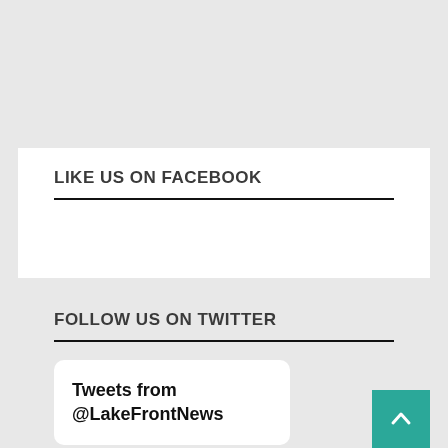LIKE US ON FACEBOOK
FOLLOW US ON TWITTER
Tweets from @LakeFrontNews